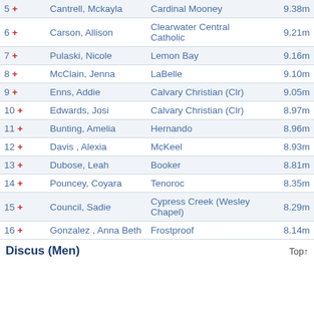| Rank | Name | School | Result |
| --- | --- | --- | --- |
| 5 + | Cantrell, Mckayla | Cardinal Mooney | 9.38m |
| 6 + | Carson, Allison | Clearwater Central Catholic | 9.21m |
| 7 + | Pulaski, Nicole | Lemon Bay | 9.16m |
| 8 + | McClain, Jenna | LaBelle | 9.10m |
| 9 + | Enns, Addie | Calvary Christian (Clr) | 9.05m |
| 10 + | Edwards, Josi | Calvary Christian (Clr) | 8.97m |
| 11 + | Bunting, Amelia | Hernando | 8.96m |
| 12 + | Davis , Alexia | McKeel | 8.93m |
| 13 + | Dubose, Leah | Booker | 8.81m |
| 14 + | Pouncey, Coyara | Tenoroc | 8.35m |
| 15 + | Council, Sadie | Cypress Creek (Wesley Chapel) | 8.29m |
| 16 + | Gonzalez , Anna Beth | Frostproof | 8.14m |
Discus (Men)
Top↑